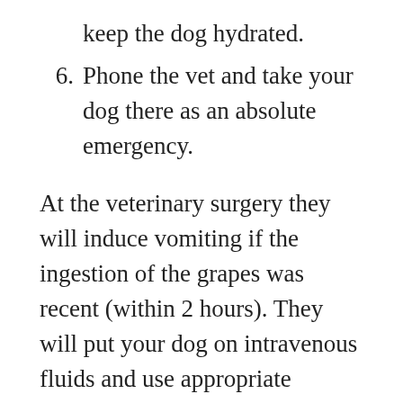keep the dog hydrated.
6. Phone the vet and take your dog there as an absolute emergency.
At the veterinary surgery they will induce vomiting if the ingestion of the grapes was recent (within 2 hours). They will put your dog on intravenous fluids and use appropriate medications depending on the clinical state of your dog. The blood tests will show whether the kidneys have been affected yet.
The intravenous fluids will keep the kidneys working and dilute the toxins in the hopes that they will then be less likely to destroy the renal